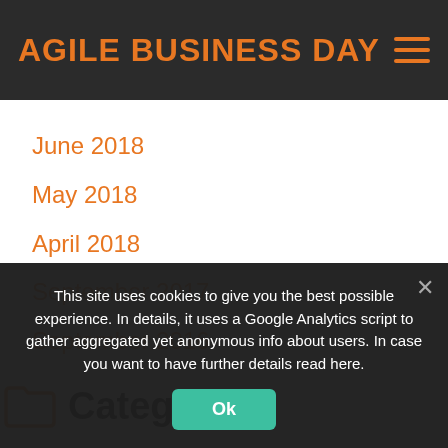AGILE BUSINESS DAY
June 2018
May 2018
April 2018
September 2017
September 2016
Categories
News
This site uses cookies to give you the best possible experience. In details, it uses a Google Analytics script to gather aggregated yet anonymous info about users. In case you want to have further details read here.